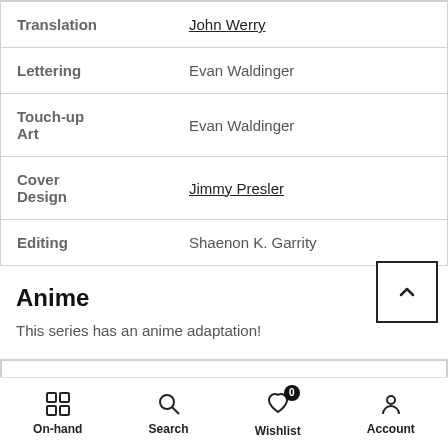| Role | Name |
| --- | --- |
| Translation | John Werry |
| Lettering | Evan Waldinger |
| Touch-up Art | Evan Waldinger |
| Cover Design | Jimmy Presler |
| Editing | Shaenon K. Garrity |
Anime
This series has an anime adaptation!
| Romaji Title |  |
| --- | --- |
| Romaji Title | Tonikaku Kawaii |